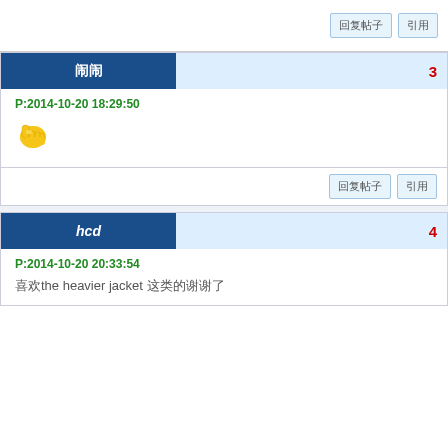回复帖子 引用
闹闹 3
P:2014-10-20 18:29:50
[Figure (illustration): Thumbs up emoji / fist bump emoticon in yellow]
回复帖子 引用
hcd 4
P:2014-10-20 20:33:54
喜欢the heavier jacket 这类的谢谢了